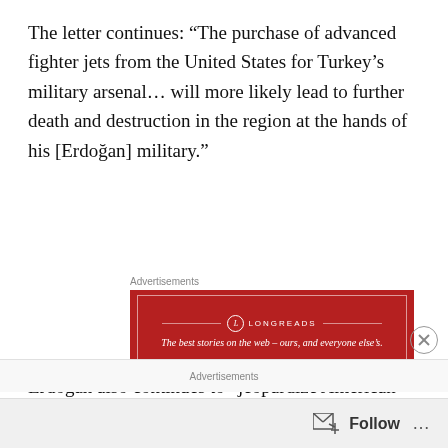The letter continues: “The purchase of advanced fighter jets from the United States for Turkey’s military arsenal… will more likely lead to further death and destruction in the region at the hands of his [Erdoğan] military.”
[Figure (screenshot): Longreads advertisement banner with red background and tagline: The best stories on the web – ours, and everyone else’s.]
Erdoğan also continues to “jeopardize American national security” by utilizing the Russian-manufactured S-400 missile defense systems, which can expose “important tactical information about U.S. weaponry and military operations to Russia,” in an attempt to “pit the United